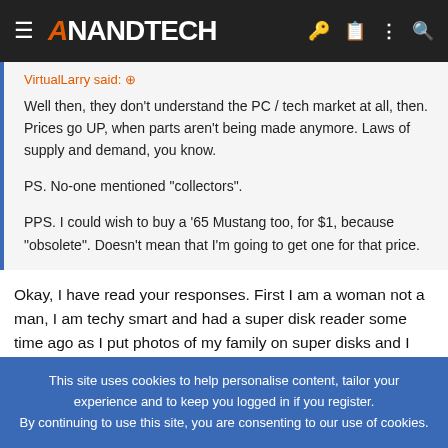AnandTech
VirtualLarry said: ↑
Well then, they don't understand the PC / tech market at all, then. Prices go UP, when parts aren't being made anymore. Laws of supply and demand, you know.

PS. No-one mentioned "collectors".

PPS. I could wish to buy a '65 Mustang too, for $1, because "obsolete". Doesn't mean that I'm going to get one for that price.
Okay, I have read your responses. First I am a woman not a man, I am techy smart and had a super disk reader some time ago as I put photos of my family on super disks and I am in the process of storing my pictures on a 4 TB external hard drive. I am not a collector, I'm a
This site uses cookies to help personalise content, tailor your experience and to keep you logged in if you register.
By continuing to use this site, you are consenting to our use of cookies.